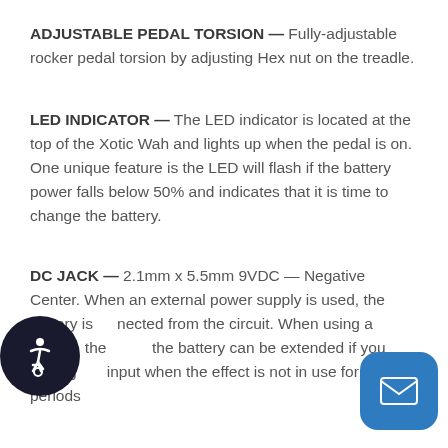ADJUSTABLE PEDAL TORSION — Fully-adjustable rocker pedal torsion by adjusting Hex nut on the treadle.
LED INDICATOR — The LED indicator is located at the top of the Xotic Wah and lights up when the pedal is on. One unique feature is the LED will flash if the battery power falls below 50% and indicates that it is time to change the battery.
DC JACK — 2.1mm x 5.5mm 9VDC — Negative Center. When an external power supply is used, the battery is disconnected from the circuit. When using a battery, the battery can be extended if you unplug input when the effect is not in use for long periods.